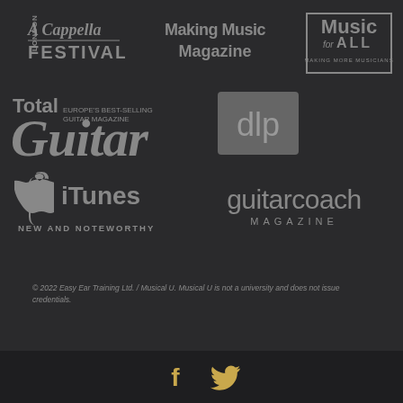[Figure (logo): London A Cappella Festival logo in grey]
[Figure (logo): Making Music Magazine logo in grey]
[Figure (logo): Music for All - Making More Musicians logo in grey]
[Figure (logo): Total Guitar - Europe's best-selling guitar magazine logo in grey]
[Figure (logo): dlp logo in grey square]
[Figure (logo): iTunes New and Noteworthy logo in grey]
[Figure (logo): guitarcoach MAGAZINE logo in grey]
© 2022 Easy Ear Training Ltd. / Musical U. Musical U is not a university and does not issue credentials.
[Figure (illustration): Facebook and Twitter social media icons in gold/amber color]